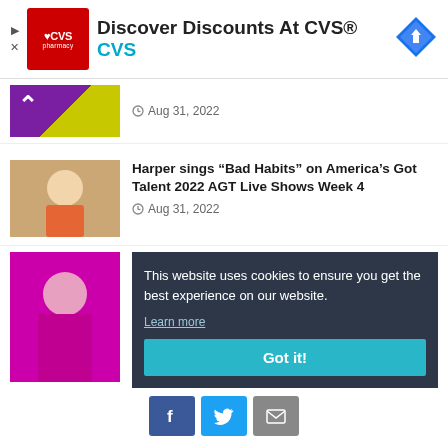[Figure (screenshot): CVS Pharmacy advertisement banner with red CVS logo, text 'Discover Discounts At CVS®' and 'CVS' in cyan, and a map direction icon on the right]
Aug 31, 2022
Harper sings “Bad Habits” on America’s Got Talent 2022 AGT Live Shows Week 4
Aug 31, 2022
This website uses cookies to ensure you get the best experience on our website.
Learn more
Got it!
[Figure (other): Social sharing buttons: Facebook, Twitter, and Email]